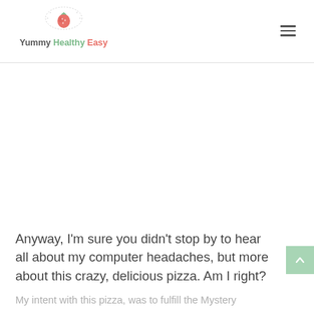Yummy Healthy Easy
Anyway, I’m sure you didn’t stop by to hear all about my computer headaches, but more about this crazy, delicious pizza. Am I right?
My intent with this pizza, was to fulfill the Mystery